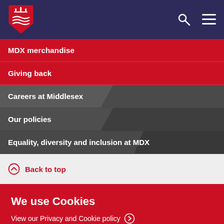[Figure (logo): Middlesex University shield logo — red shield with three white wavy lines and a crown, on dark navy background header]
MDX merchandise
Giving back
Careers at Middlesex
Our policies
Equality, diversity and inclusion at MDX
Back to top
We use Cookies
View our Privacy and Cookie policy
Accept